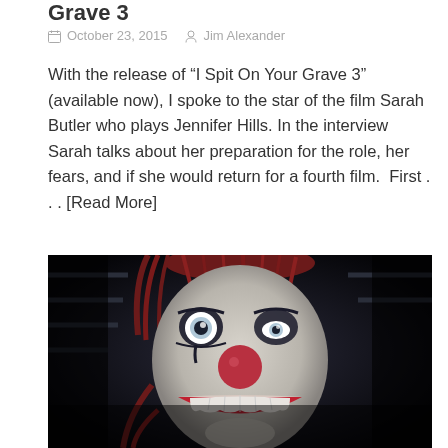Grave 3
October 23, 2015   Jim Alexander
With the release of “I Spit On Your Grave 3” (available now), I spoke to the star of the film Sarah Butler who plays Jennifer Hills. In the interview Sarah talks about her preparation for the role, her fears, and if she would return for a fourth film.  First . . . [Read More]
[Figure (photo): Close-up photo of a creepy clown mask/puppet with white face, black painted eyes with one eye wide open, red nose, red lips showing teeth, dark eye socket markings, and red stringy hair, photographed in dark moody lighting]